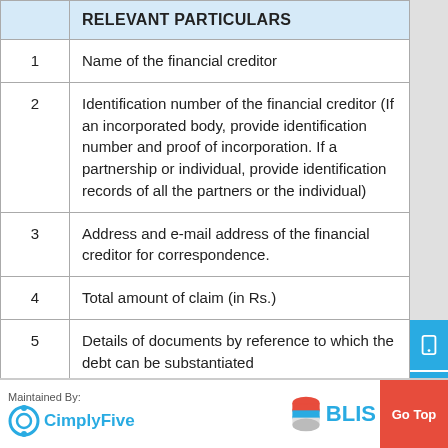|  | RELEVANT PARTICULARS |
| --- | --- |
| 1 | Name of the financial creditor |
| 2 | Identification number of the financial creditor (If an incorporated body, provide identification number and proof of incorporation. If a partnership or individual, provide identification records of all the partners or the individual) |
| 3 | Address and e-mail address of the financial creditor for correspondence. |
| 4 | Total amount of claim (in Rs.) |
| 5 | Details of documents by reference to which the debt can be substantiated |
| 6 | Details of how and when debt incurred |
| 7 | Details of… |
Maintained By: CimplyFive  BLIS  Go Top